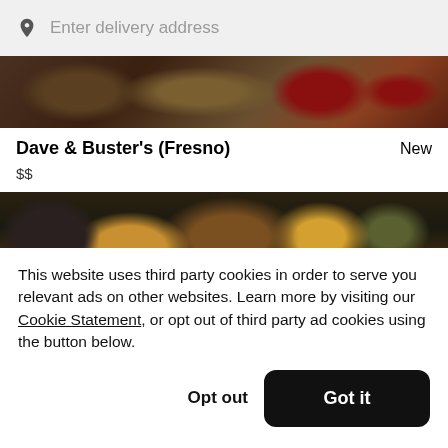Enter delivery address
[Figure (photo): Food photo strip showing various dishes including what appears to be meat and vegetables]
Dave & Buster's (Fresno)
New
$$
[Figure (photo): Food photo strip showing trays with food including fries and dipping sauces]
This website uses third party cookies in order to serve you relevant ads on other websites. Learn more by visiting our Cookie Statement, or opt out of third party ad cookies using the button below.
Opt out
Got it